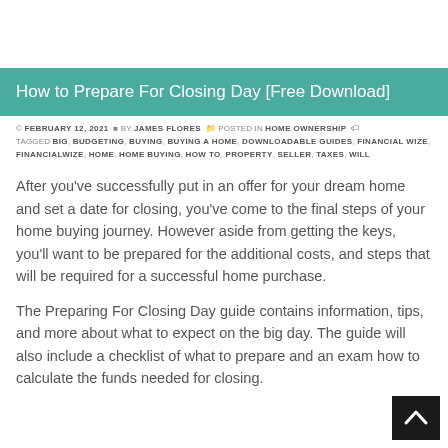How to Prepare For Closing Day [Free Download]
© FEBRUARY 12, 2021  BY JAMES FLORES  POSTED IN HOME OWNERSHIP  TAGGED BIG, BUDGETING, BUYING, BUYING A HOME, DOWNLOADABLE GUIDES, FINANCIAL WIZE, FINANCIALWIZE, HOME, HOME BUYING, HOW TO, PROPERTY, SELLER, TAXES, WILL
After you've successfully put in an offer for your dream home and set a date for closing, you've come to the final steps of your home buying journey. However aside from getting the keys, you'll want to be prepared for the additional costs, and steps that will be required for a successful home purchase.
The Preparing For Closing Day guide contains information, tips, and more about what to expect on the big day. The guide will also include a checklist of what to prepare and an exam how to calculate the funds needed for closing.